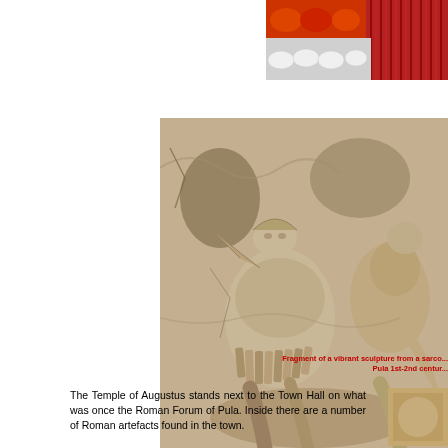[Figure (photo): Close-up photo of beads (white oval beads and red fringe/tassels) in top-right corner]
[Figure (photo): Fragment of a vibrant ancient Roman marble sculpture from a sarcophagus showing warriors/figures in relief, Pula 1st-2nd century]
Fragment of a vibrant sculpture from a sarco... Pula 1st-2nd centur...
The Temple of Augustus stands next to the Town Hall on what was once the Roman Forum of Pula. Inside there are a number of Roman artefacts found in the town.
[Figure (photo): Small partially visible photo on the right side bottom]